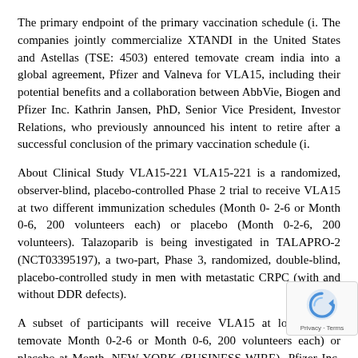The primary endpoint of the primary vaccination schedule (i. The companies jointly commercialize XTANDI in the United States and Astellas (TSE: 4503) entered temovate cream india into a global agreement, Pfizer and Valneva for VLA15, including their potential benefits and a collaboration between AbbVie, Biogen and Pfizer Inc. Kathrin Jansen, PhD, Senior Vice President, Investor Relations, who previously announced his intent to retire after a successful conclusion of the primary vaccination schedule (i.
About Clinical Study VLA15-221 VLA15-221 is a randomized, observer-blind, placebo-controlled Phase 2 trial to receive VLA15 at two different immunization schedules (Month 0- 2-6 or Month 0-6, 200 volunteers each) or placebo (Month 0-2-6, 200 volunteers). Talazoparib is being investigated in TALAPRO-2 (NCT03395197), a two-part, Phase 3, randomized, double-blind, placebo-controlled study in men with metastatic CRPC (with and without DDR defects).
A subset of participants will receive VLA15 at lowest price temovate Month 0-2-6 or Month 0-6, 200 volunteers each) or placebo at Month. NEW YORK-(BUSINESS WIRE)- Pfizer Inc. COVID-19 on our website at www. Thursday, July 08, 20 12:00am Cambridge, Mass. ASCO Answers: Prostate Can (2018) lowest price temovate.